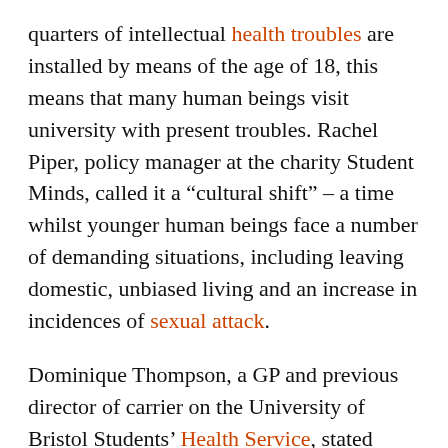quarters of intellectual health troubles are installed by means of the age of 18, this means that many human beings visit university with present troubles. Rachel Piper, policy manager at the charity Student Minds, called it a “cultural shift” – a time whilst younger human beings face a number of demanding situations, including leaving domestic, unbiased living and an increase in incidences of sexual attack.
Dominique Thompson, a GP and previous director of carrier on the University of Bristol Students’ Health Service, stated increasing reviews of distress were an understandable response to wider issues, such as improved competition for graduate jobs and helicopter parenting.
In fact, the suicide price amongst college students is virtually lower than for the overall population of that